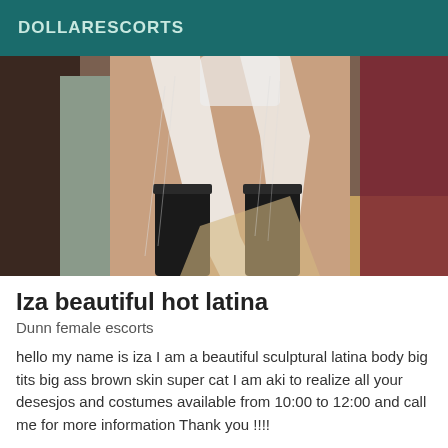DOLLARESCORTS
[Figure (photo): Photo of a person in white lace lingerie and black knee-high boots standing indoors]
Iza beautiful hot latina
Dunn female escorts
hello my name is iza I am a beautiful sculptural latina body big tits big ass brown skin super cat I am aki to realize all your desesjos and costumes available from 10:00 to 12:00 and call me for more information Thank you !!!!